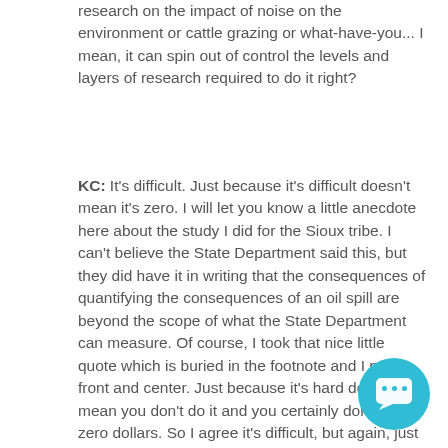research on the impact of noise on the environment or cattle grazing or what-have-you... I mean, it can spin out of control the levels and layers of research required to do it right?
KC: It's difficult. Just because it's difficult doesn't mean it's zero. I will let you know a little anecdote here about the study I did for the Sioux tribe. I can't believe the State Department said this, but they did have it in writing that the consequences of quantifying the consequences of an oil spill are beyond the scope of what the State Department can measure. Of course, I took that nice little quote which is buried in the footnote and I put it front and center. Just because it's hard doesn't mean you don't do it and you certainly don't call it zero dollars. So I agree it's difficult, but again, just because it's difficult doesn't mean it's a zero impact.
[Figure (other): Teal/cyan circular chat support bubble icon in the bottom-right corner of the page.]